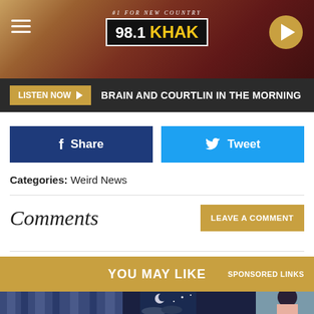[Figure (screenshot): 98.1 KHAK radio station header banner with logo, menu icon, and play button]
LISTEN NOW ▶  BRAIN AND COURTLIN IN THE MORNING
Share
Tweet
Categories: Weird News
Comments
LEAVE A COMMENT
YOU MAY LIKE  SPONSORED LINKS
[Figure (illustration): Illustration of a person looking through a window at night with moon and stars visible]